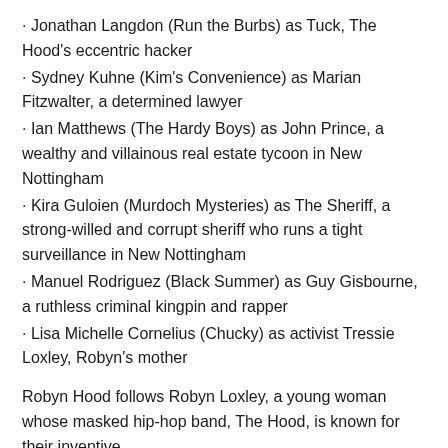· Jonathan Langdon (Run the Burbs) as Tuck, The Hood's eccentric hacker
· Sydney Kuhne (Kim's Convenience) as Marian Fitzwalter, a determined lawyer
· Ian Matthews (The Hardy Boys) as John Prince, a wealthy and villainous real estate tycoon in New Nottingham
· Kira Guloien (Murdoch Mysteries) as The Sheriff, a strong-willed and corrupt sheriff who runs a tight surveillance in New Nottingham
· Manuel Rodriguez (Black Summer) as Guy Gisbourne, a ruthless criminal kingpin and rapper
· Lisa Michelle Cornelius (Chucky) as activist Tressie Loxley, Robyn's mother
Robyn Hood follows Robyn Loxley, a young woman whose masked hip-hop band, The Hood, is known for their inventive